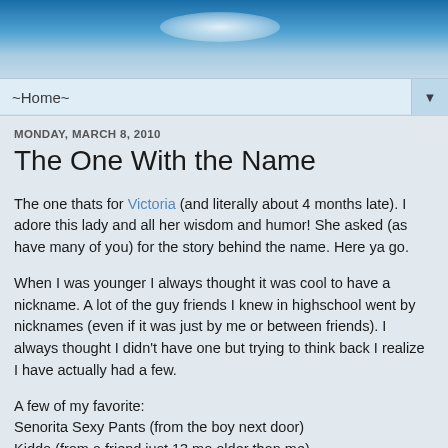[Figure (photo): Blog header banner with blue sky and clouds background, fading into a hazy landscape at bottom]
~Home~
MONDAY, MARCH 8, 2010
The One With the Name
The one thats for Victoria (and literally about 4 months late). I adore this lady and all her wisdom and humor! She asked (as have many of you) for the story behind the name. Here ya go.
When I was younger I always thought it was cool to have a nickname. A lot of the guy friends I knew in highschool went by nicknames (even if it was just by me or between friends). I always thought I didn't have one but trying to think back I realize I have actually had a few.
A few of my favorite:
Senorita Sexy Pants (from the boy next door)
Kiddo (from a friend just 13 mo older than me)